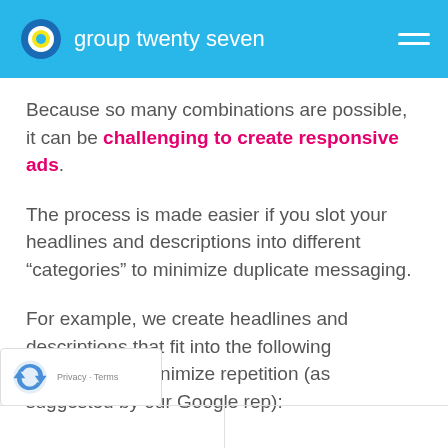group twenty seven
Because so many combinations are possible, it can be challenging to create responsive ads.
The process is made easier if you slot your headlines and descriptions into different “categories” to minimize duplicate messaging.
For example, we create headlines and descriptions that fit into the following categories to minimize repetition (as suggested by our Google rep):